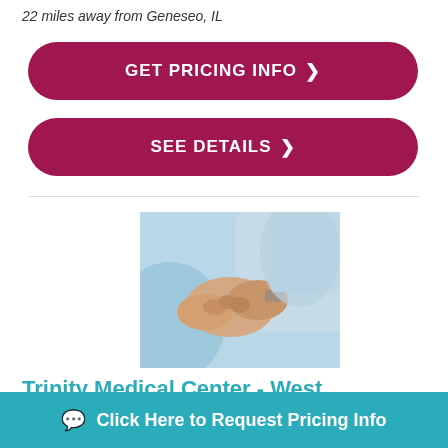22 miles away from Geneseo, IL
GET PRICING INFO >
SEE DETAILS >
[Figure (photo): Two people holding hands in a caregiving context, wearing light blue clothing.]
Trinity Medical Center - West
2701 17th St
R...
Click Here to Request Pricing Info